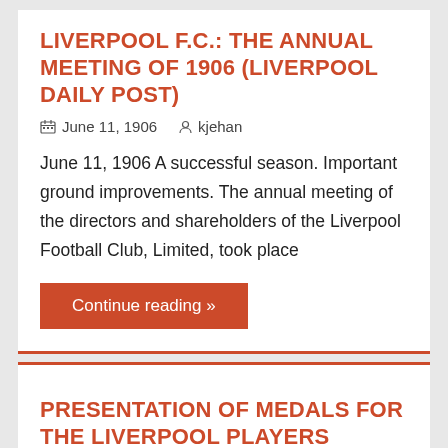LIVERPOOL F.C.: THE ANNUAL MEETING OF 1906 (LIVERPOOL DAILY POST)
June 11, 1906    kjehan
June 11, 1906 A successful season. Important ground improvements. The annual meeting of the directors and shareholders of the Liverpool Football Club, Limited, took place
Continue reading »
PRESENTATION OF MEDALS FOR THE LIVERPOOL PLAYERS
September 5, 1905    kjehan